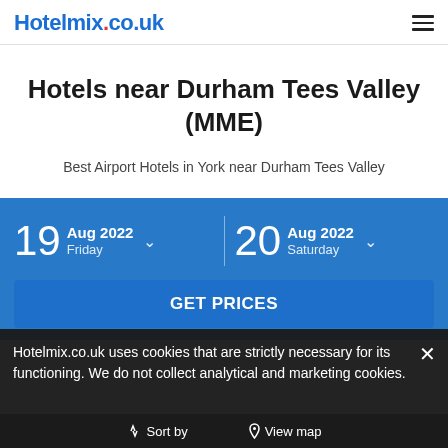Hotelmix.co.uk
Hotels near Durham Tees Valley (MME)
Best Airport Hotels in York near Durham Tees Valley
19 Aug 2022 Friday
20 Aug 2022 Saturday
GET PRICES
Hotelmix.co.uk uses cookies that are strictly necessary for its functioning. We do not collect analytical and marketing cookies.
Sort by   View map